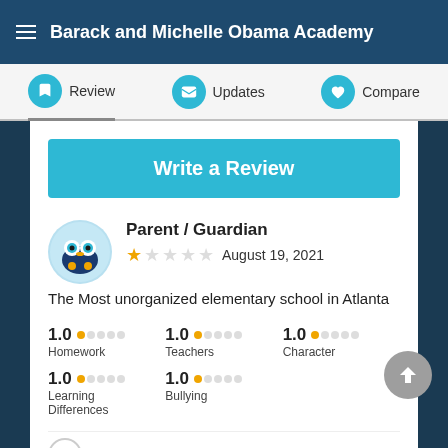Barack and Michelle Obama Academy
Review | Updates | Compare
Write a Review
Parent / Guardian
August 19, 2021
The Most unorganized elementary school in Atlanta
| Category | Rating |
| --- | --- |
| Homework | 1.0 |
| Teachers | 1.0 |
| Character | 1.0 |
| Learning Differences | 1.0 |
| Bullying | 1.0 |
Would not recommend this school